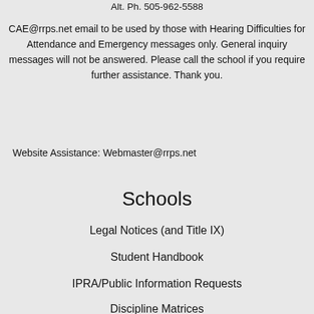Alt. Ph. 505-962-5588
CAE@rrps.net email to be used by those with Hearing Difficulties for Attendance and Emergency messages only. General inquiry messages will not be answered. Please call the school if you require further assistance. Thank you.
Website Assistance: Webmaster@rrps.net
Schools
Legal Notices (and Title IX)
Student Handbook
IPRA/Public Information Requests
Discipline Matrices